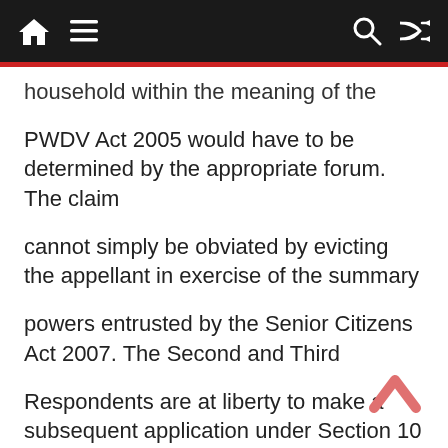Navigation bar with home, menu, search, and shuffle icons
household within the meaning of the
PWDV Act 2005 would have to be determined by the appropriate forum. The claim
cannot simply be obviated by evicting the appellant in exercise of the summary
powers entrusted by the Senior Citizens Act 2007. The Second and Third
Respondents are at liberty to make a subsequent application under Section 10 of
the Senior Citizens Act 2007 for alteration of the maintenance allowance, before the
appropriate forum. For the above reasons, while allowing the appeal, we issue the